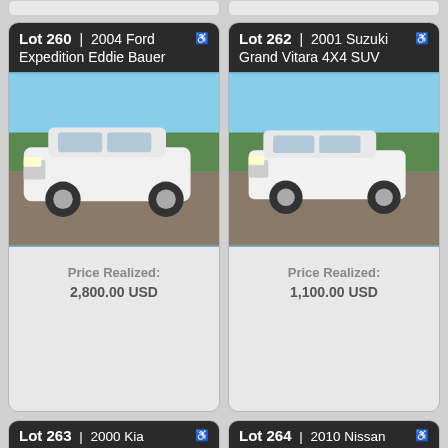[Figure (photo): Partial view of vehicle lot card top stub (cropped from previous page)]
[Figure (photo): Partial view of vehicle lot card top stub (cropped from previous page)]
Lot 260 | 2004 Ford Expedition Eddie Bauer
[Figure (photo): Photo of a white 2004 Ford Expedition Eddie Bauer SUV parked on gravel]
Price Realized: 2,800.00 USD
Lot 262 | 2001 Suzuki Grand Vitara 4X4 SUV
[Figure (photo): Photo of a white 2001 Suzuki Grand Vitara 4X4 SUV outdoors]
Price Realized: 1,100.00 USD
Lot 263 | 2000 Kia Sportage EX 4X4 SUV
Lot 264 | 2010 Nissan Cube SUV